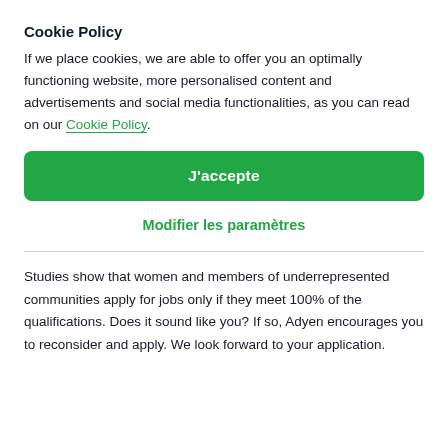Cookie Policy
If we place cookies, we are able to offer you an optimally functioning website, more personalised content and advertisements and social media functionalities, as you can read on our Cookie Policy.
J'accepte
Modifier les paramètres
Studies show that women and members of underrepresented communities apply for jobs only if they meet 100% of the qualifications. Does it sound like you? If so, Adyen encourages you to reconsider and apply. We look forward to your application.